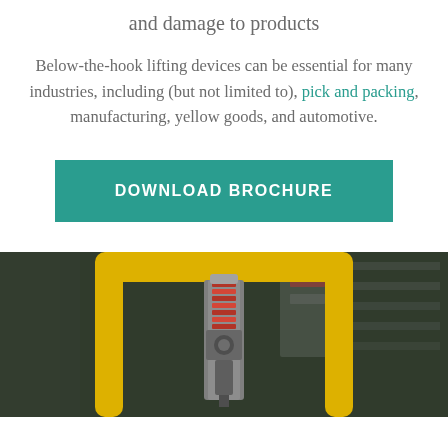and damage to products
Below-the-hook lifting devices can be essential for many industries, including (but not limited to), pick and packing, manufacturing, yellow goods, and automotive.
DOWNLOAD BROCHURE
[Figure (photo): Industrial below-the-hook lifting device with a yellow metal frame/guard and red spring mechanism, photographed in a manufacturing/warehouse environment.]